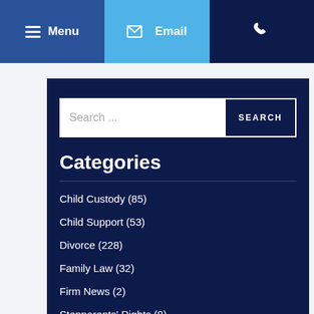Menu | Email | Phone
Categories
Child Custody (85)
Child Support (53)
Divorce (228)
Family Law (32)
Firm News (2)
Stepparents' Rights (8)